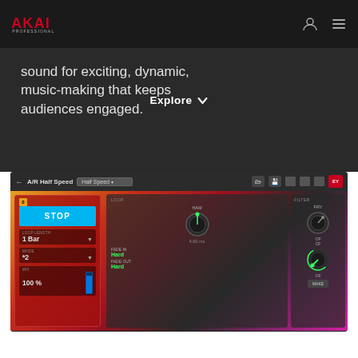AKAI Professional
sound for exciting, dynamic, music-making that keeps audiences engaged.
Explore
[Figure (screenshot): AKAI Professional software plugin interface showing 'A/R Half Speed' effect with Half Speed dropdown, STOP button, Loop Length (1 Bar), Mode (*2), Mix (100%), Loop and Filter panels with knobs and green dial controls]